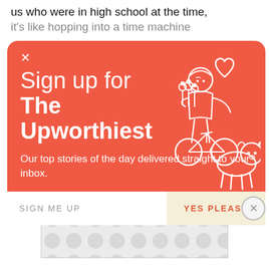us who were in high school at the time, it's like hopping into a time machine
[Figure (screenshot): Email newsletter signup modal with coral/orange-red background. Shows 'Sign up for The Upworthiest' heading with white illustrated figure holding flowers and a heart, riding a dog. Input bar at bottom with 'SIGN ME UP' placeholder and 'YES PLEASE' button. Close X at top left and circular X button at bottom right.]
[Figure (other): Advertisement banner placeholder with light grey background and polka dot pattern]